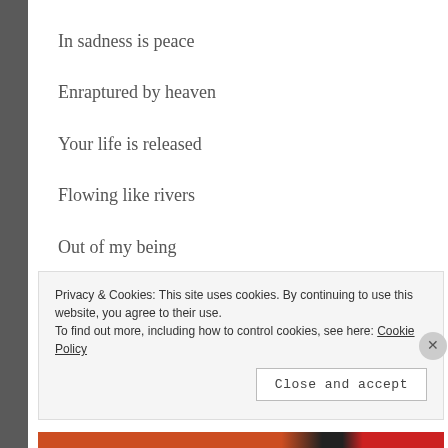In sadness is peace
Enraptured by heaven
Your life is released
Flowing like rivers
Out of my being
Privacy & Cookies: This site uses cookies. By continuing to use this website, you agree to their use. To find out more, including how to control cookies, see here: Cookie Policy
Close and accept